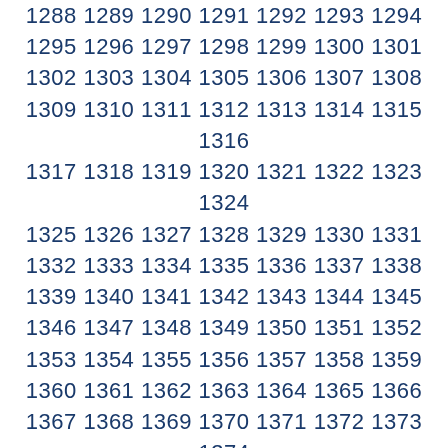1288 1289 1290 1291 1292 1293 1294 1295 1296 1297 1298 1299 1300 1301 1302 1303 1304 1305 1306 1307 1308 1309 1310 1311 1312 1313 1314 1315 1316 1317 1318 1319 1320 1321 1322 1323 1324 1325 1326 1327 1328 1329 1330 1331 1332 1333 1334 1335 1336 1337 1338 1339 1340 1341 1342 1343 1344 1345 1346 1347 1348 1349 1350 1351 1352 1353 1354 1355 1356 1357 1358 1359 1360 1361 1362 1363 1364 1365 1366 1367 1368 1369 1370 1371 1372 1373 1374 1375 1376 1377 1378 1379 1380 1381 1382 1383 1384 1385 1386 1387 1388 1389 1390 1391 1392 1393 1394 1395 1396 1397 1398 1399 1400 1401 1402 1403 1404 1405 1406 1407 1408 1409 1410 1411 1412 1413 1414 1415 1416 1417 1418 1419 1420 1421 1422 1423 1424 1425 1426 1427 1428 1429 1430 1431 1432 1433 1434 1435 1436 1437 1438 1439 1440 1441 1442 1443 1444 1445 1446 1447